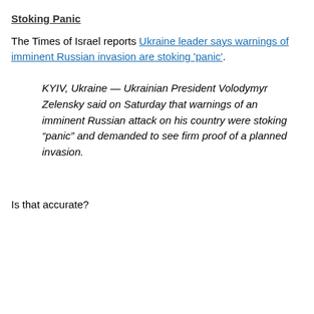Stoking Panic
The Times of Israel reports Ukraine leader says warnings of imminent Russian invasion are stoking 'panic'.
KYIV, Ukraine — Ukrainian President Volodymyr Zelensky said on Saturday that warnings of an imminent Russian attack on his country were stoking “panic” and demanded to see firm proof of a planned invasion.
Is that accurate?